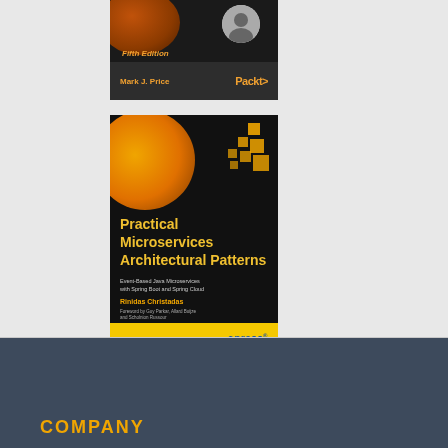[Figure (illustration): Book cover (partially cropped at top): dark background with orange blob graphic, author avatar, 'Fifth Edition' label, author name 'Mark J. Price', Packt publisher logo]
[Figure (illustration): Book cover: 'Practical Microservices Architectural Patterns' by Rinidas Christadas, Apress publisher, dark background with orange circle and squares graphic, yellow bottom bar]
COMPANY